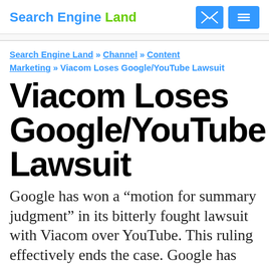Search Engine Land
Search Engine Land » Channel » Content Marketing » Viacom Loses Google/YouTube Lawsuit
Viacom Loses Google/YouTube Lawsuit
Google has won a “motion for summary judgment” in its bitterly fought lawsuit with Viacom over YouTube. This ruling effectively ends the case. Google has won,